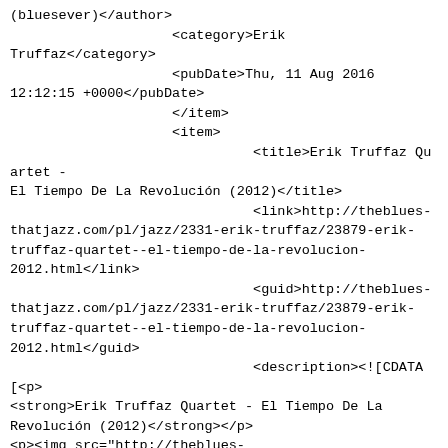(bluesever)</author>
                    <category>Erik Truffaz</category>
                    <pubDate>Thu, 11 Aug 2016 12:12:15 +0000</pubDate>
                    </item>
                    <item>
                              <title>Erik Truffaz Quartet - El Tiempo De La Revolución (2012)</title>
                              <link>http://theblues-thatjazz.com/pl/jazz/2331-erik-truffaz/23879-erik-truffaz-quartet--el-tiempo-de-la-revolucion-2012.html</link>
                              <guid>http://theblues-thatjazz.com/pl/jazz/2331-erik-truffaz/23879-erik-truffaz-quartet--el-tiempo-de-la-revolucion-2012.html</guid>
                              <description><![CDATA[<p>
<strong>Erik Truffaz Quartet - El Tiempo De La Revolución (2012)</strong></p>
<p><img src="http://theblues-thatjazz.com/ObrMuz/Jazz/ErikTruffaz/tiempo.jpg" border="0" alt="Image could not be displayed. Check browser for compatibility." /></p>
<pre><em>
1       -Erik Truffaz Quartet   El Tiempo De La Revolución      5:05
2       -Erik Truffaz Quartet   Istanbul Tango  6:47
3       -Erik Truffaz Quartet Featuring Anna Aaron Blue Movie       4:20